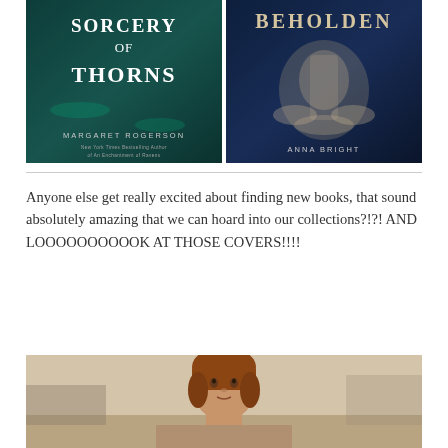[Figure (photo): Two fantasy book covers side by side: 'Sorcery of Thorns' by Margaret Rogerson (dark teal/teal background with ornate lettering) on the left, and 'Beholden' by Anna Bright (dark blue background with white ornate ship figurehead) on the right.]
Anyone else get really excited about finding new books, that sound absolutely amazing that we can hoard into our collections?!?! AND LOOOOOOOOOOK AT THOSE COVERS!!!!
[Figure (photo): A woman with reddish-brown hair looking upward with a surprised or excited expression, photographed indoors.]